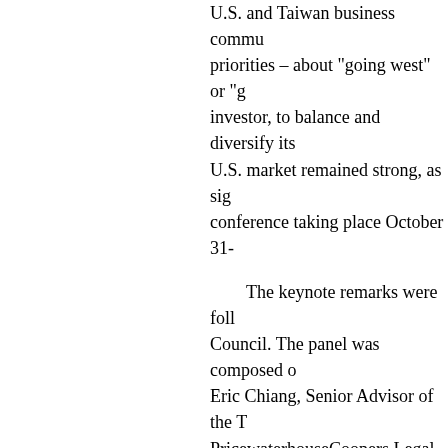U.S. and Taiwan business commun... priorities – about "going west" or "g... investor, to balance and diversify its... U.S. market remained strong, as sig... conference taking place October 31-
The keynote remarks were foll... Council. The panel was composed o... Eric Chiang, Senior Advisor of the T... PricewaterhouseCoopers Legal, Tai... importance of services and investme... nature of the two economies: the U.... manufacturing base and plays a key... communiqué, a BIA could be or... they are investing in each other's ma...
Taiwan and the United States e... role. While Taiwan is the 11th large... U.S. trade in services with Taiwan to... Taiwan that year. Of that total, U.S.... 15% ($1.4 billion) over the 201...